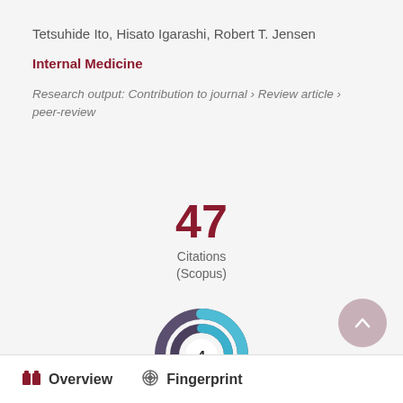Tetsuhide Ito, Hisato Igarashi, Robert T. Jensen
Internal Medicine
Research output: Contribution to journal › Review article › peer-review
[Figure (donut-chart): Donut chart showing citation metric with value 47 Citations (Scopus) and a smaller donut chart with value 4]
Overview   Fingerprint